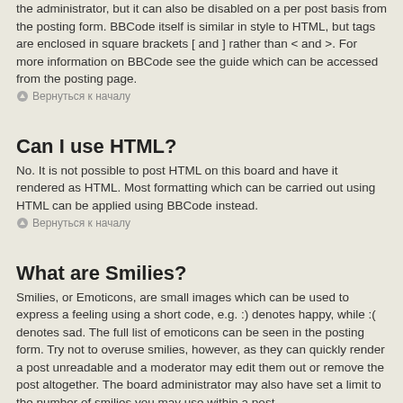the administrator, but it can also be disabled on a per post basis from the posting form. BBCode itself is similar in style to HTML, but tags are enclosed in square brackets [ and ] rather than < and >. For more information on BBCode see the guide which can be accessed from the posting page.
⊙ Вернуться к началу
Can I use HTML?
No. It is not possible to post HTML on this board and have it rendered as HTML. Most formatting which can be carried out using HTML can be applied using BBCode instead.
⊙ Вернуться к началу
What are Smilies?
Smilies, or Emoticons, are small images which can be used to express a feeling using a short code, e.g. :) denotes happy, while :( denotes sad. The full list of emoticons can be seen in the posting form. Try not to overuse smilies, however, as they can quickly render a post unreadable and a moderator may edit them out or remove the post altogether. The board administrator may also have set a limit to the number of smilies you may use within a post.
⊙ Вернуться к началу